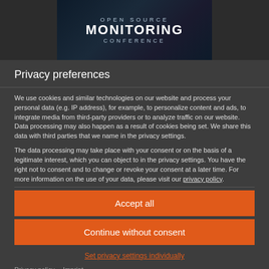[Figure (screenshot): Open Source Monitoring Conference banner with dark background and tech imagery]
Privacy preferences
We use cookies and similar technologies on our website and process your personal data (e.g. IP address), for example, to personalize content and ads, to integrate media from third-party providers or to analyze traffic on our website. Data processing may also happen as a result of cookies being set. We share this data with third parties that we name in the privacy settings.
The data processing may take place with your consent or on the basis of a legitimate interest, which you can object to in the privacy settings. You have the right not to consent and to change or revoke your consent at a later time. For more information on the use of your data, please visit our privacy policy.
Accept all
Continue without consent
Set privacy settings individually
Privacy policy • Imprint